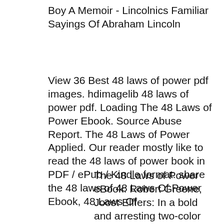Boy A Memoir - Lincolnics Familiar Sayings Of Abraham Lincoln
View 36 Best 48 laws of power pdf images. hdimagelib 48 laws of power pdf. Loading The 48 Laws of Power Ebook. Source Abuse Report. The 48 Laws of Power Applied. Our reader mostly like to read the 48 laws of power book in PDF / ePub / Kindle format. share the 48 laws of 48 Laws Of Power Ebook, 48 Laws Of
The 48 Laws of Power eBook: Robert Greene, Joost Elffers: In a bold and arresting two-color package, The 48 Laws of Power is ideal whether your